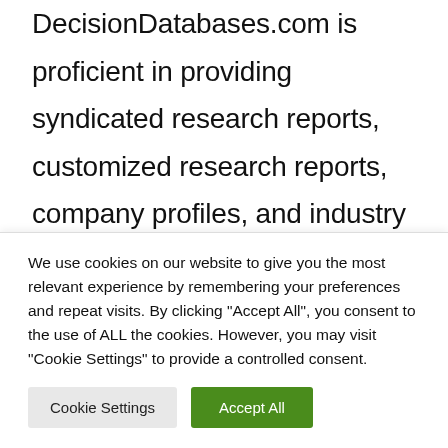DecisionDatabases.com is proficient in providing syndicated research reports, customized research reports, company profiles, and industry databases across multiple domains. Our expert research analysts have been trained to map clients' research requirements to the correct research resource leading to a distinctive edge over its competitors. We provide intellectual, precise, and meaningful data at a lightning speed.
We use cookies on our website to give you the most relevant experience by remembering your preferences and repeat visits. By clicking "Accept All", you consent to the use of ALL the cookies. However, you may visit "Cookie Settings" to provide a controlled consent.